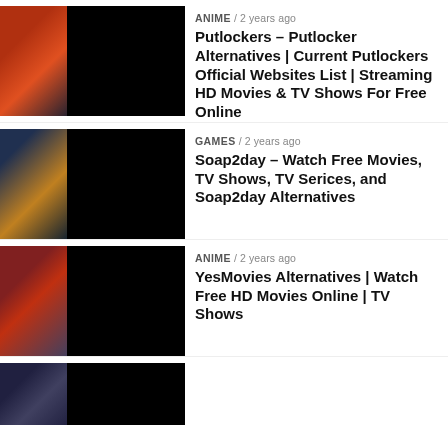[Figure (photo): Thumbnail image of a superhero movie scene with fire and action, partially covered by black overlay]
ANIME / 2 years ago
Putlockers – Putlocker Alternatives | Current Putlockers Official Websites List | Streaming HD Movies & TV Shows For Free Online
[Figure (photo): Thumbnail image of two people in action poses against a dramatic sky, partially covered by black overlay]
GAMES / 2 years ago
Soap2day – Watch Free Movies, TV Shows, TV Serices, and Soap2day Alternatives
[Figure (photo): Thumbnail image of a superhero with red cape flying, partially covered by black overlay]
ANIME / 2 years ago
YesMovies Alternatives | Watch Free HD Movies Online | TV Shows
[Figure (photo): Thumbnail image of a dark superhero action scene, partially covered by black overlay]